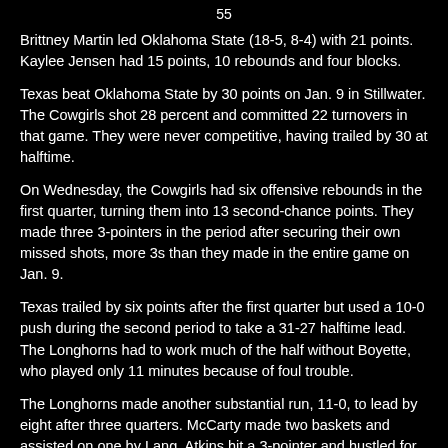55
Brittney Martin led Oklahoma State (18-5, 8-4) with 21 points. Kaylee Jensen had 15 points, 10 rebounds and four blocks.
Texas beat Oklahoma State by 30 points on Jan. 9 in Stillwater. The Cowgirls shot 28 percent and committed 22 turnovers in that game. They were never competitive, having trailed by 30 at halftime.
On Wednesday, the Cowgirls had six offensive rebounds in the first quarter, turning them into 13 second-chance points. They made three 3-pointers in the period after securing their own missed shots, more 3s than they made in the entire game on Jan. 9.
Texas trailed by six points after the first quarter but used a 10-0 push during the second period to take a 31-27 halftime lead. The Longhorns had to work much of the half without Boyette, who played only 11 minutes because of foul trouble.
The Longhorns made another substantial run, 11-0, to lead by eight after three quarters. McCarty made two baskets and assisted on one by Lang. Atkins hit a 3-pointer and hustled for an offensive rebound that she turned into a layup.
"I thought the difference in the ballgame was the first four or five minutes of the second half," Oklahoma State coach Jim Littell said. "We had some breakdowns defensively and they got easy baskets. The (deficit) went from four to 10 and we were trying to dig our way out the rest of the second half."
TIP-INS